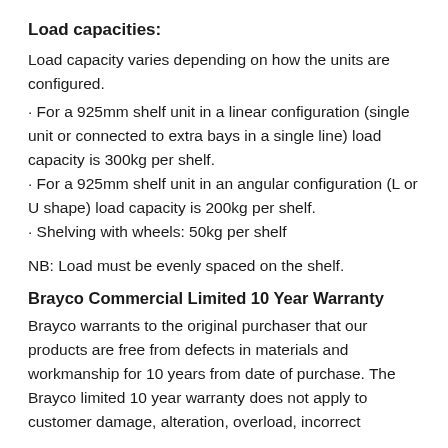Load capacities:
Load capacity varies depending on how the units are configured.
· For a 925mm shelf unit in a linear configuration (single unit or connected to extra bays in a single line) load capacity is 300kg per shelf.
· For a 925mm shelf unit in an angular configuration (L or U shape) load capacity is 200kg per shelf.
· Shelving with wheels: 50kg per shelf
NB: Load must be evenly spaced on the shelf.
Brayco Commercial Limited 10 Year Warranty
Brayco warrants to the original purchaser that our products are free from defects in materials and workmanship for 10 years from date of purchase. The Brayco limited 10 year warranty does not apply to customer damage, alteration, overload, incorrect